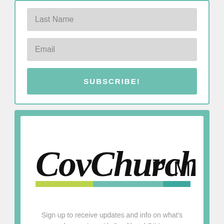Last Name
Email
SUBSCRIBE!
[Figure (logo): CovChurch PIM logo with handwritten-style 'CovChurch' text and printed 'PIM', with a two-tone green/teal underline bar]
Sign up to receive updates and info on what's happening with CovChurchPIM